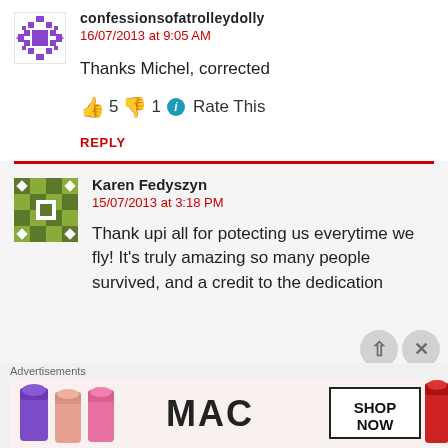confessionsofatrolleydolly
16/07/2013 at 9:05 AM

Thanks Michel, corrected

👍 5 👎 1 ℹ Rate This

REPLY
Karen Fedyszyn
15/07/2013 at 3:18 PM

Thank upi all for potecting us everytime we fly! It's truly amazing so many people survived, and a credit to the dedication
Advertisements
[Figure (illustration): MAC cosmetics advertisement showing lipsticks in purple, pink, and red colors with MAC logo and SHOP NOW text]